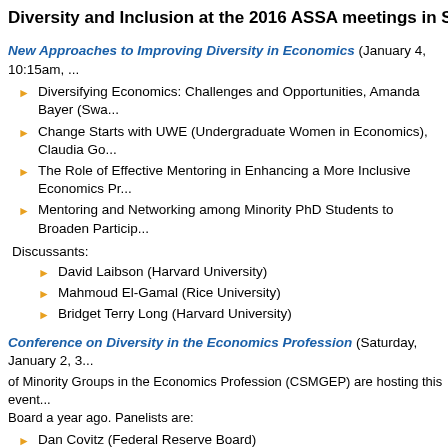Diversity and Inclusion at the 2016 ASSA meetings in San Francisco
New Approaches to Improving Diversity in Economics (January 4, 10:15am, ...)
Diversifying Economics: Challenges and Opportunities, Amanda Bayer (Swa...)
Change Starts with UWE (Undergraduate Women in Economics), Claudia Go...
The Role of Effective Mentoring in Enhancing a More Inclusive Economics Pr...
Mentoring and Networking among Minority PhD Students to Broaden Particip...
Discussants:
David Laibson (Harvard University)
Mahmoud El-Gamal (Rice University)
Bridget Terry Long (Harvard University)
Conference on Diversity in the Economics Profession (Saturday, January 2, 3...) of Minority Groups in the Economics Profession (CSMGEP) are hosting this event... Board a year ago. Panelists are:
Dan Covitz (Federal Reserve Board)
Lisa Cook (Michigan State University)
Fernando Lozano (Pomona and CSMGEP)
Rhonda Sharpe (Bucknell University and DITE)
William Spriggs (Howard University)
Amanda Bayer (Swarthmore College and Federal Reserve Board)
CSWEP is sponsoring multiple events, including mentoring breakfasts and a spe...